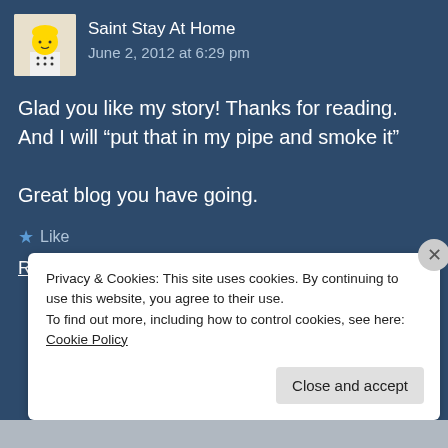[Figure (photo): Avatar image of a LEGO-style blonde character]
Saint Stay At Home
June 2, 2012 at 6:29 pm
Glad you like my story! Thanks for reading. And I will “put that in my pipe and smoke it”

Great blog you have going.
★ Like
Reply
Privacy & Cookies: This site uses cookies. By continuing to use this website, you agree to their use.
To find out more, including how to control cookies, see here: Cookie Policy